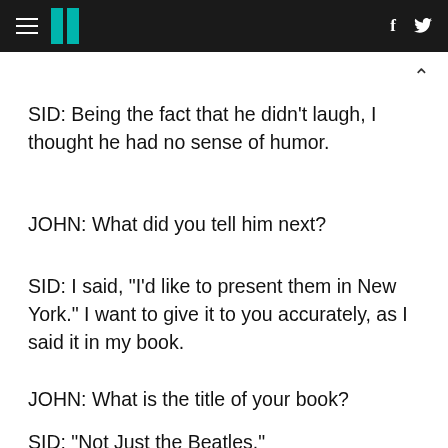HuffPost (hamburger menu, logo, facebook, twitter icons)
SID: Being the fact that he didn't laugh, I thought he had no sense of humor.
JOHN: What did you tell him next?
SID: I said, "I'd like to present them in New York." I want to give it to you accurately, as I said it in my book.
JOHN: What is the title of your book?
SID: "Not Just the Beatles."